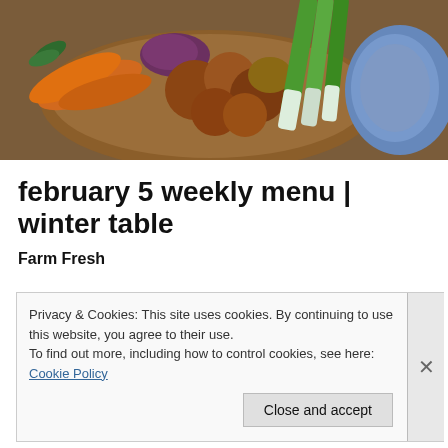[Figure (photo): A wooden bowl filled with fresh vegetables including carrots, beets, potatoes, and green onions/leeks on a rustic table.]
february 5 weekly menu | winter table
Farm Fresh
Privacy & Cookies: This site uses cookies. By continuing to use this website, you agree to their use.
To find out more, including how to control cookies, see here: Cookie Policy